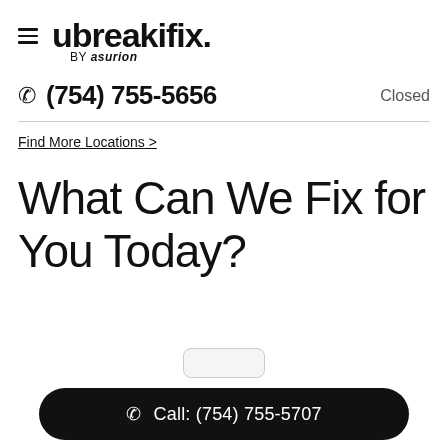≡ ubreakifix. BY asurion
(754) 755-5656  Closed
Find More Locations >
What Can We Fix for You Today?
Call: (754) 755-5707